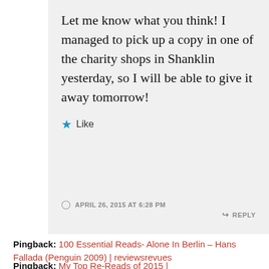Let me know what you think! I managed to pick up a copy in one of the charity shops in Shanklin yesterday, so I will be able to give it away tomorrow!
★ Like
APRIL 26, 2015 AT 6:28 PM
↳ REPLY
Pingback: 100 Essential Reads- Alone In Berlin – Hans Fallada (Penguin 2009) | reviewsrevues
Pingback: My Top Re-Reads of 2015 |